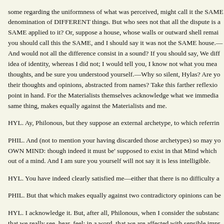some regarding the uniformness of what was perceived, might call it the SAME denomination of DIFFERENT things. But who sees not that all the dispute is a SAME applied to it? Or, suppose a house, whose walls or outward shell remain you should call this the SAME, and I should say it was not the SAME house.— And would not all the difference consist in a sound? If you should say, We diff idea of identity, whereas I did not; I would tell you, I know not what you mean thoughts, and be sure you understood yourself.—Why so silent, Hylas? Are yo their thoughts and opinions, abstracted from names? Take this farther reflexion point in hand. For the Materialists themselves acknowledge what we immediat same thing, makes equally against the Materialists and me.
HYL. Ay, Philonous, but they suppose an external archetype, to which referrin
PHIL. And (not to mention your having discarded those archetypes) so may yo OWN MIND: though indeed it must be' supposed to exist in that Mind which out of a mind. And I am sure you yourself will not say it is less intelligible.
HYL. You have indeed clearly satisfied me—either that there is no difficulty a
PHIL. But that which makes equally against two contradictory opinions can be
HYL. I acknowledge it. But, after all, Philonous, when I consider the substanc that we really see, hear, feel; in a word, that we are affected with sensible impr
PHIL. And how are WE concerned any farther? I see this cherry, I feel it, I tas the sensations of softness, moisture, redness, tartness, and you take away the c of sensible impressions, or ideas perceived by various senses; which ideas ar